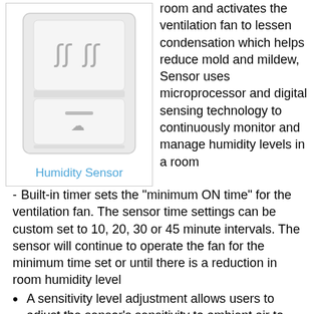[Figure (photo): White wall-mounted humidity sensor device with steam icons and fan symbol]
Humidity Sensor
room and activates the ventilation fan to lessen condensation which helps reduce mold and mildew, Sensor uses microprocessor and digital sensing technology to continuously monitor and manage humidity levels in a room
Built-in timer sets the "minimum ON time" for the ventilation fan. The sensor time settings can be custom set to 10, 20, 30 or 45 minute intervals. The sensor will continue to operate the fan for the minimum time set or until there is a reduction in room humidity level
A sensitivity level adjustment allows users to adjust the sensor's sensitivity to ambient air to